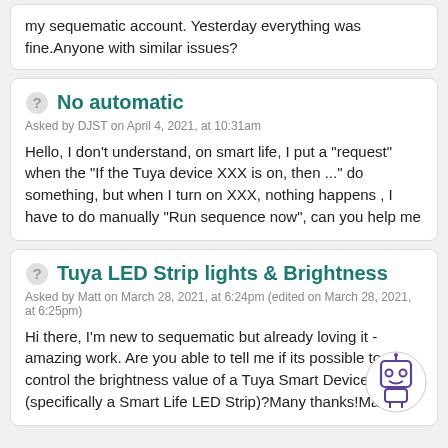my sequematic account. Yesterday everything was fine.Anyone with similar issues?
No automatic
Asked by DJST on April 4, 2021, at 10:31am
Hello, I don't understand, on smart life, I put a "request" when the "If the Tuya device XXX is on, then ..." do something, but when I turn on XXX, nothing happens , I have to do manually "Run sequence now", can you help me
Tuya LED Strip lights & Brightness
Asked by Matt on March 28, 2021, at 6:24pm (edited on March 28, 2021, at 6:25pm)
Hi there, I'm new to sequematic but already loving it - amazing work. Are you able to tell me if its possible to control the brightness value of a Tuya Smart Device (specifically a Smart Life LED Strip)?Many thanks!Matt